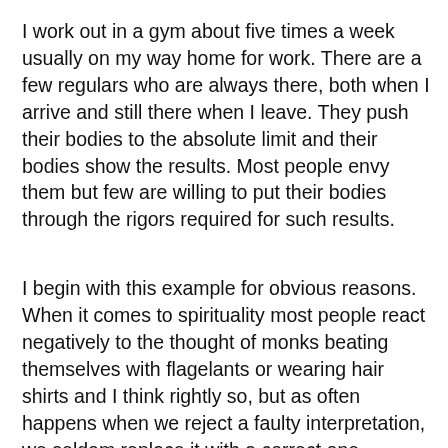I work out in a gym about five times a week usually on my way home for work. There are a few regulars who are always there, both when I arrive and still there when I leave. They push their bodies to the absolute limit and their bodies show the results. Most people envy them but few are willing to put their bodies through the rigors required for such results.
I begin with this example for obvious reasons. When it comes to spirituality most people react negatively to the thought of monks beating themselves with flagelants or wearing hair shirts and I think rightly so, but as often happens when we reject a faulty interpretation, we seldom replace it with a correct one.
About a year ago I was giving a tour of a Benedictine Monastery, where I had attended college almost twenty years ago, to some visitors. Being a curious soul I know the